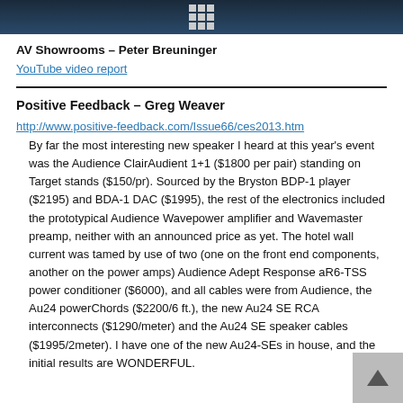[grid icon header bar]
AV Showrooms – Peter Breuninger
YouTube video report
Positive Feedback – Greg Weaver
http://www.positive-feedback.com/Issue66/ces2013.htm
By far the most interesting new speaker I heard at this year's event was the Audience ClairAudient 1+1 ($1800 per pair) standing on Target stands ($150/pr). Sourced by the Bryston BDP-1 player ($2195) and BDA-1 DAC ($1995), the rest of the electronics included the prototypical Audience Wavepower amplifier and Wavemaster preamp, neither with an announced price as yet. The hotel wall current was tamed by use of two (one on the front end components, another on the power amps) Audience Adept Response aR6-TSS power conditioner ($6000), and all cables were from Audience, the Au24 powerChords ($2200/6 ft.), the new Au24 SE RCA interconnects ($1290/meter) and the Au24 SE speaker cables ($1995/2meter). I have one of the new Au24-SEs in house, and the initial results are WONDERFUL.